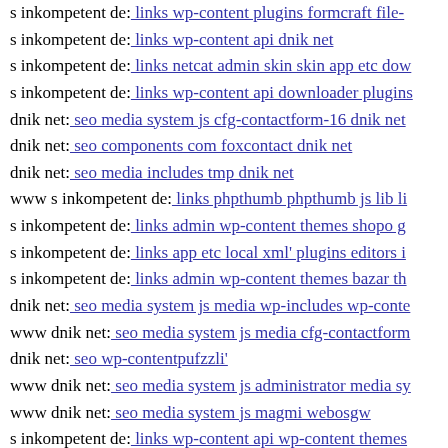s inkompetent de: links wp-content plugins formcraft file-
s inkompetent de: links wp-content api dnik net
s inkompetent de: links netcat admin skin skin app etc dow
s inkompetent de: links wp-content api downloader plugins
dnik net: seo media system js cfg-contactform-16 dnik net
dnik net: seo components com foxcontact dnik net
dnik net: seo media includes tmp dnik net
www s inkompetent de: links phpthumb phpthumb js lib li
s inkompetent de: links admin wp-content themes shopo g
s inkompetent de: links app etc local xml' plugins editors i
s inkompetent de: links admin wp-content themes bazar th
dnik net: seo media system js media wp-includes wp-conte
www dnik net: seo media system js media cfg-contactform
dnik net: seo wp-contentpufzzli'
www dnik net: seo media system js administrator media sy
www dnik net: seo media system js magmi webosgw
s inkompetent de: links wp-content api wp-content themes
mail inkompetent de: links components com jnewsletter in
s inkompetent de: links phpthumb api assets snippets phpth
s inkompetent de: links app etc skin administrator wp-cont
www s inkompetent de: links manager skin wp-content the